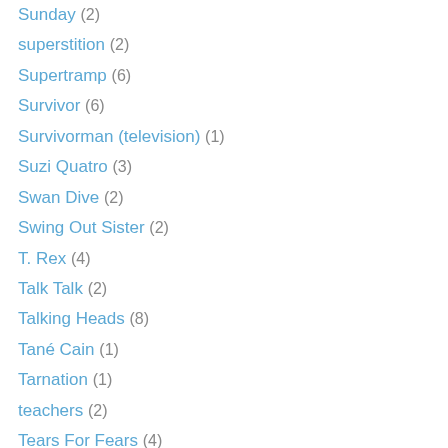Sunday (2)
superstition (2)
Supertramp (6)
Survivor (6)
Survivorman (television) (1)
Suzi Quatro (3)
Swan Dive (2)
Swing Out Sister (2)
T. Rex (4)
Talk Talk (2)
Talking Heads (8)
Tané Cain (1)
Tarnation (1)
teachers (2)
Tears For Fears (4)
technology (11)
Ted Hawkins (1)
televised events (6)
television (24)
television commercial (11)